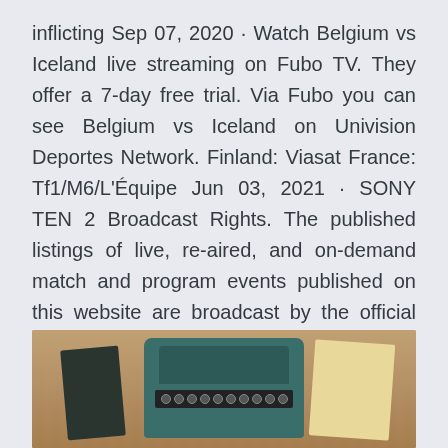inflicting Sep 07, 2020 · Watch Belgium vs Iceland live streaming on Fubo TV. They offer a 7-day free trial. Via Fubo you can see Belgium vs Iceland on Univision Deportes Network. Finland: Viasat France: Tf1/M6/L'Équipe Jun 03, 2021 · SONY TEN 2 Broadcast Rights. The published listings of live, re-aired, and on-demand match and program events published on this website are broadcast by the official rights holders. They are available on various platforms such as terrestrial TV, radio, cable, satellite, IPTV, mobile and desktop apps. Where possible, we will provide links to the Outcome: Belgium Wins.
[Figure (photo): A vintage typewriter (teal/dark green color) on a wooden surface, flanked by a dark book on the left and a cream/yellow paper on the right.]